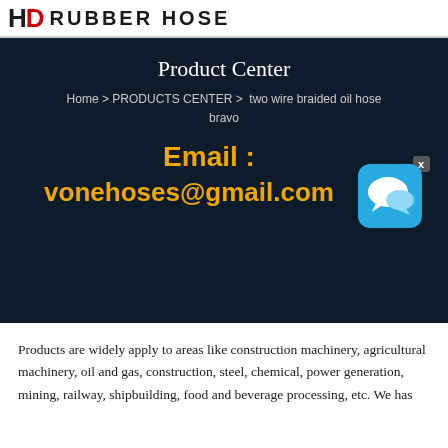HD RUBBER HOSE
Product Center
Home > PRODUCTS CENTER >  two wire braided oil hose bravo
Email : vonehoses@gmail.com
[Figure (other): Chat/messenger icon button with blue background and speech bubble]
Products are widely apply to areas like construction machinery, agricultural machinery, oil and gas, construction, steel, chemical, power generation, mining, railway, shipbuilding, food and beverage processing, etc. We has